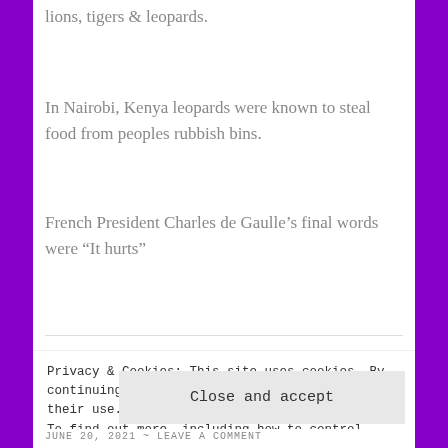lions, tigers & leopards.
In Nairobi, Kenya leopards were known to steal food from peoples rubbish bins.
French President Charles de Gaulle’s final words were “It hurts”
Yeah This Post is Late, Why,
Privacy & Cookies: This site uses cookies. By continuing to use this website, you agree to their use.
To find out more, including how to control cookies, see here: Cookie Policy
Close and accept
JUNE 20, 2021 ~ LEAVE A COMMENT